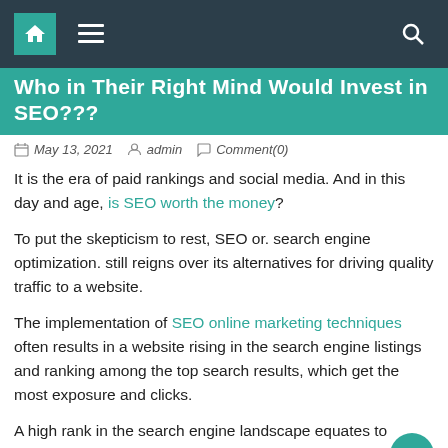Who in Their Right Mind Would Invest in SEO???
May 13, 2021   admin   Comment(0)
It is the era of paid rankings and social media. And in this day and age, is SEO worth the money?
To put the skepticism to rest, SEO or. search engine optimization. still reigns over its alternatives for driving quality traffic to a website.
The implementation of SEO online marketing techniques often results in a website rising in the search engine listings and ranking among the top search results, which get the most exposure and clicks.
A high rank in the search engine landscape equates to high-quality web traffic. And what does high-quality traffic equate to? More so, what happens to businesses interested in…